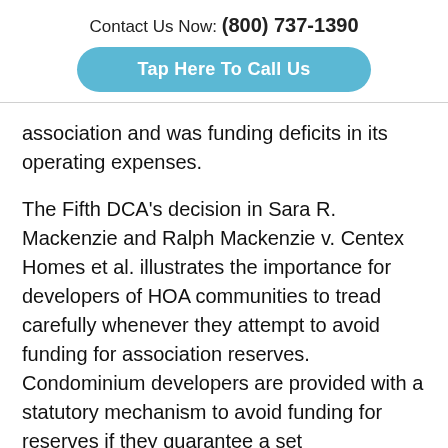Contact Us Now: (800) 737-1390
[Figure (other): Blue rounded button with text 'Tap Here To Call Us']
association and was funding deficits in its operating expenses.
The Fifth DCA's decision in Sara R. Mackenzie and Ralph Mackenzie v. Centex Homes et al. illustrates the importance for developers of HOA communities to tread carefully whenever they attempt to avoid funding for association reserves. Condominium developers are provided with a statutory mechanism to avoid funding for reserves if they guarantee a set